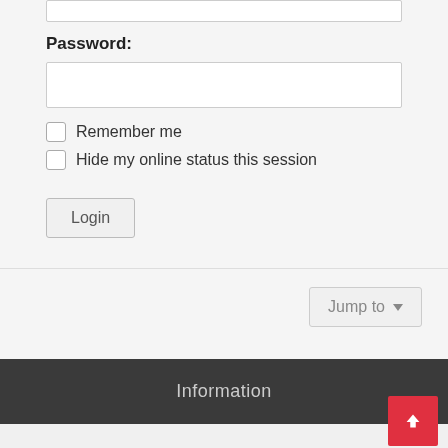Password:
Remember me
Hide my online status this session
Login
Jump to
Information